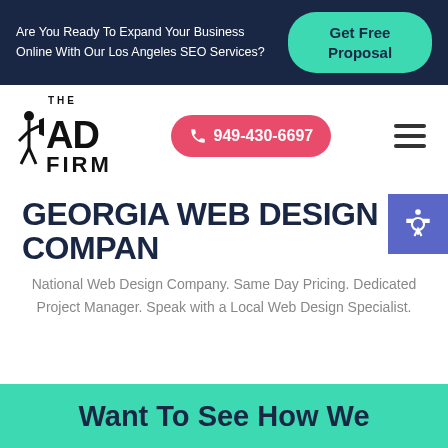Are You Ready To Expand Your Business Online With Our Los Angeles SEO Services?
Get Free Proposal
[Figure (logo): The AD Firm logo with megaphone figure]
949-430-6697
GEORGIA WEB DESIGN COMPANY
National Web Design Company. Same Day Pricing. Dedicated Project Manager. Speak with a Local Web Design Specialist.
Want To See How We